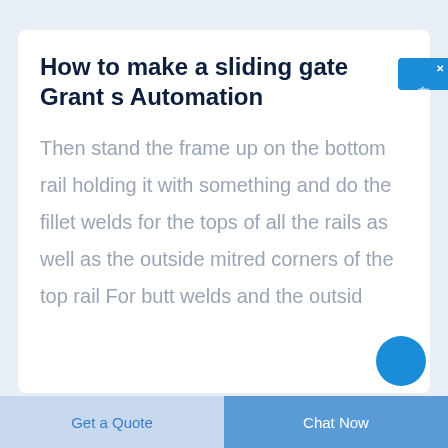How to make a sliding gate Grant s Automation
Then stand the frame up on the bottom rail holding it with something and do the fillet welds for the tops of all the rails as well as the outside mitred corners of the top rail For butt welds and the outsid
Get a Quote  |  Chat Now